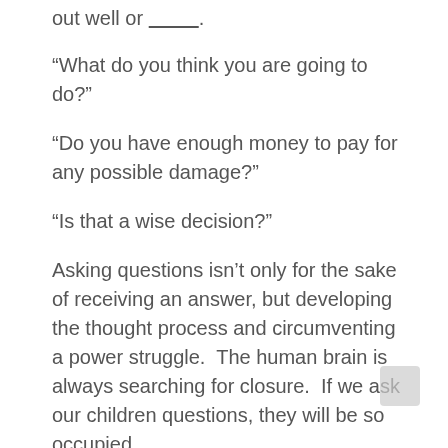out well or _________.
“What do you think you are going to do?”
“Do you have enough money to pay for any possible damage?”
“Is that a wise decision?”
Asking questions isn’t only for the sake of receiving an answer, but developing the thought process and circumventing a power struggle. The human brain is always searching for closure.  If we ask our children questions, they will be so occupied thinking of an answer that the result